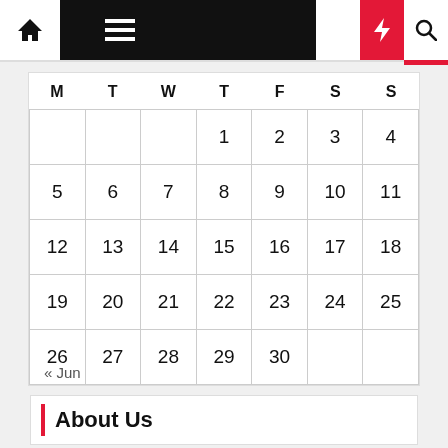[Figure (screenshot): Navigation bar with home icon, hamburger menu on black background, moon icon, red lightning bolt icon, and search icon]
| M | T | W | T | F | S | S |
| --- | --- | --- | --- | --- | --- | --- |
|  |  |  | 1 | 2 | 3 | 4 |
| 5 | 6 | 7 | 8 | 9 | 10 | 11 |
| 12 | 13 | 14 | 15 | 16 | 17 | 18 |
| 19 | 20 | 21 | 22 | 23 | 24 | 25 |
| 26 | 27 | 28 | 29 | 30 |  |  |
« Jun
About Us